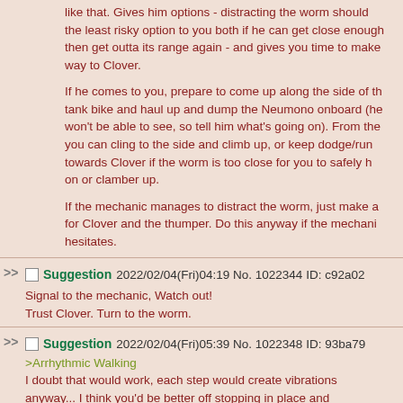like that. Gives him options - distracting the worm should the least risky option to you both if he can get close enough then get outta its range again - and gives you time to make way to Clover.

If he comes to you, prepare to come up along the side of the tank bike and haul up and dump the Neumono onboard (he won't be able to see, so tell him what's going on). From the you can cling to the side and climb up, or keep dodge/run towards Clover if the worm is too close for you to safely h on or clamber up.

If the mechanic manages to distract the worm, just make a for Clover and the thumper. Do this anyway if the mechani hesitates.
Suggestion 2022/02/04(Fri)04:19 No. 1022344 ID: c92a02

Signal to the mechanic, Watch out!
Trust Clover. Turn to the worm.
Suggestion 2022/02/04(Fri)05:39 No. 1022348 ID: 93ba79

>Arrhythmic Walking
I doubt that would work, each step would create vibrations anyway... I think you'd be better off stopping in place and